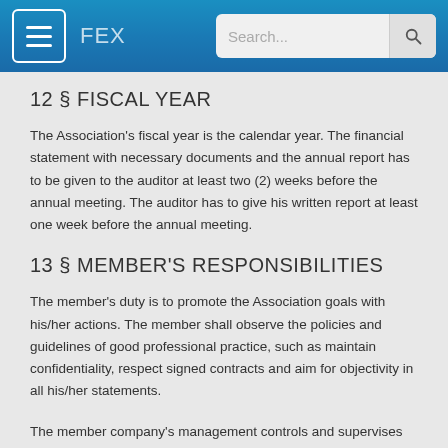FEX
12 § FISCAL YEAR
The Association's fiscal year is the calendar year. The financial statement with necessary documents and the annual report has to be given to the auditor at least two (2) weeks before the annual meeting. The auditor has to give his written report at least one week before the annual meeting.
13 § MEMBER'S RESPONSIBILITIES
The member's duty is to promote the Association goals with his/her actions. The member shall observe the policies and guidelines of good professional practice, such as maintain confidentiality, respect signed contracts and aim for objectivity in all his/her statements.
The member company's management controls and supervises its personnel in such a way, that it acknowledges and meets the ethical